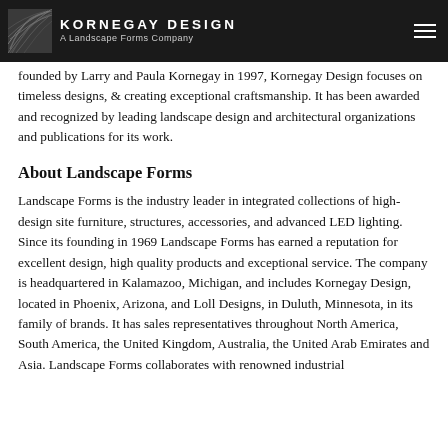KORNEGAY DESIGN A Landscape Forms Company
founded by Larry and Paula Kornegay in 1997, Kornegay Design focuses on timeless designs, & creating exceptional craftsmanship. It has been awarded and recognized by leading landscape design and architectural organizations and publications for its work.
About Landscape Forms
Landscape Forms is the industry leader in integrated collections of high-design site furniture, structures, accessories, and advanced LED lighting. Since its founding in 1969 Landscape Forms has earned a reputation for excellent design, high quality products and exceptional service. The company is headquartered in Kalamazoo, Michigan, and includes Kornegay Design, located in Phoenix, Arizona, and Loll Designs, in Duluth, Minnesota, in its family of brands. It has sales representatives throughout North America, South America, the United Kingdom, Australia, the United Arab Emirates and Asia. Landscape Forms collaborates with renowned industrial